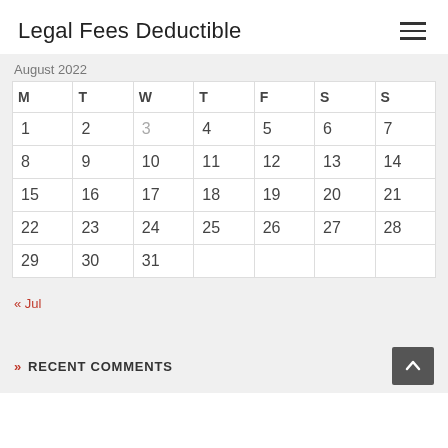Legal Fees Deductible
August 2022
| M | T | W | T | F | S | S |
| --- | --- | --- | --- | --- | --- | --- |
| 1 | 2 | 3 | 4 | 5 | 6 | 7 |
| 8 | 9 | 10 | 11 | 12 | 13 | 14 |
| 15 | 16 | 17 | 18 | 19 | 20 | 21 |
| 22 | 23 | 24 | 25 | 26 | 27 | 28 |
| 29 | 30 | 31 |  |  |  |  |
« Jul
» RECENT COMMENTS